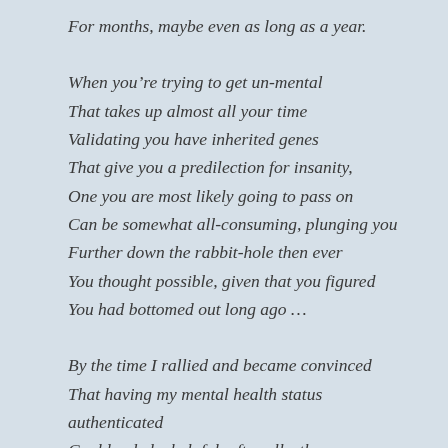For months, maybe even as long as a year.
When you're trying to get un-mental
That takes up almost all your time
Validating you have inherited genes
That give you a predilection for insanity,
One you are most likely going to pass on
Can be somewhat all-consuming, plunging you
Further down the rabbit-hole then ever
You thought possible, given that you figured
You had bottomed out long ago …
By the time I rallied and became convinced
That having my mental health status authenticated
Could only be helpful, after all—the more information
I had, the more likely my health could be improved
As could my children's, should the need ever arise—